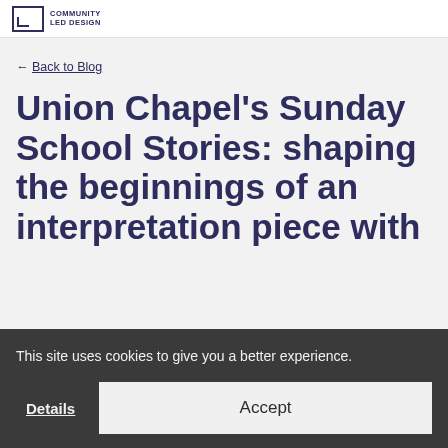COMMUNITY LED DESIGN
← Back to Blog
Union Chapel's Sunday School Stories: shaping the beginnings of an interpretation piece with
This site uses cookies to give you a better experience.
Details
Accept